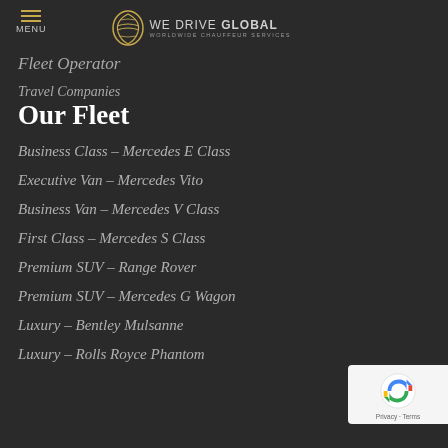MENU | WE DRIVE GLOBAL WORLDWIDE CHAUFFEUR SERVICES
Fleet Operator
Travel Companies
Our Fleet
Business Class – Mercedes E Class
Executive Van – Mercedes Vito
Business Van – Mercedes V Class
First Class – Mercedes S Class
Premium SUV – Range Rover
Premium SUV – Mercedes G Wagon
Luxury – Bentley Mulsanne
Luxury – Rolls Royce Phantom
[Figure (logo): reCAPTCHA badge with Privacy and Terms links]